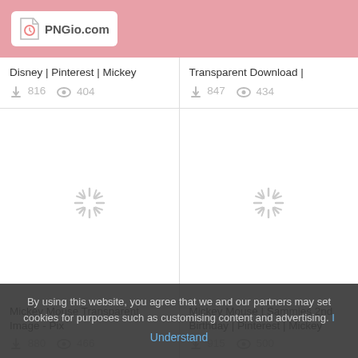PNGio.com
Disney | Pinterest | Mickey
816 downloads, 404 views
Transparent Download |
847 downloads, 434 views
[Figure (illustration): Loading spinner / sunburst icon for Mickey Mouse Transparent Image - Pix]
Mickey Mouse Transparent Image - Pix
880 downloads, 466 views
[Figure (illustration): Loading spinner / sunburst icon for Mickey Mouse | Sammies 2nd Birthday | Pinterest | Mickey]
Mickey Mouse | Sammies 2nd Birthday | Pinterest | Mickey
915 downloads, 500 views
By using this website, you agree that we and our partners may set cookies for purposes such as customising content and advertising.
Understand